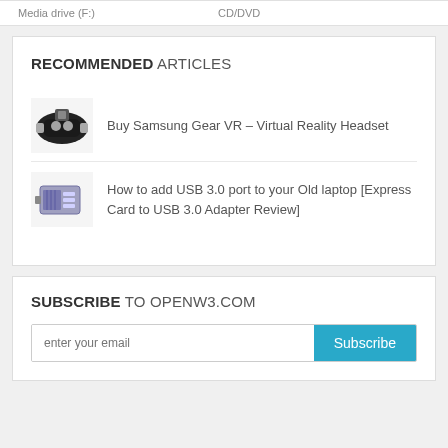|  |  |
| --- | --- |
| Media drive (F:) | CD/DVD |
RECOMMENDED ARTICLES
Buy Samsung Gear VR – Virtual Reality Headset
How to add USB 3.0 port to your Old laptop [Express Card to USB 3.0 Adapter Review]
SUBSCRIBE TO OPENW3.COM
enter your email
Subscribe